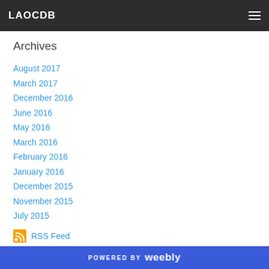LAOCDB
Archives
August 2017
March 2017
December 2016
June 2016
May 2016
March 2016
February 2016
January 2016
December 2015
November 2015
July 2015
RSS Feed
POWERED BY weebly